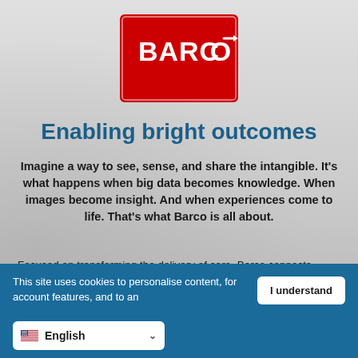[Figure (logo): Barco logo — white BARCO text with arrow icon on red rectangle background]
Enabling bright outcomes
Imagine a way to see, sense, and share the intangible. It's what happens when big data becomes knowledge. When images become insight. And when experiences come to life. That's what Barco is all about.
Focused on transforming the delivery of care, Barco connects healthcare professionals at every patient touchpoint, from the
This site uses cookies to personalise content, for account features, and to an
I understand
English